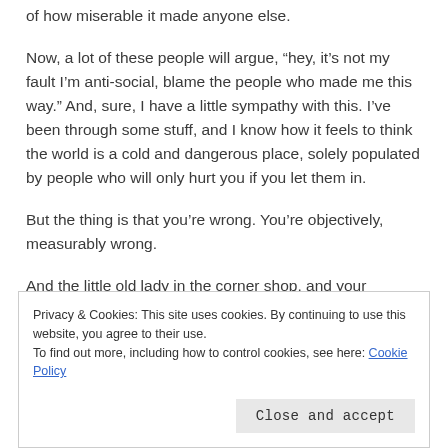of how miserable it made anyone else.
Now, a lot of these people will argue, “hey, it’s not my fault I’m anti-social, blame the people who made me this way.” And, sure, I have a little sympathy with this. I’ve been through some stuff, and I know how it feels to think the world is a cold and dangerous place, solely populated by people who will only hurt you if you let them in.
But the thing is that you’re wrong. You’re objectively, measurably wrong.
And the little old lady in the corner shop, and your
Privacy & Cookies: This site uses cookies. By continuing to use this website, you agree to their use.
To find out more, including how to control cookies, see here: Cookie Policy
Close and accept